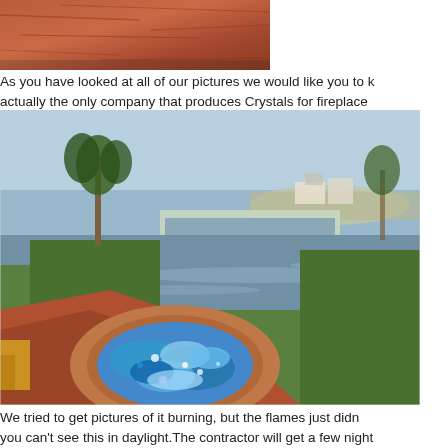[Figure (photo): Close-up photo of reddish-brown textured stone or stamped concrete surface]
As you have looked at all of our pictures we would like you to k actually the only company that produces Crystals for fireplace
[Figure (photo): Outdoor luxury backyard scene with infinity pool, green lawn, palm trees, ocean view in background, and a circular fire pit filled with blue and white glass crystals in the foreground on red stamped concrete]
We tried to get pictures of it burning, but the flames just didn you can't see this in daylight.The contractor will get a few night